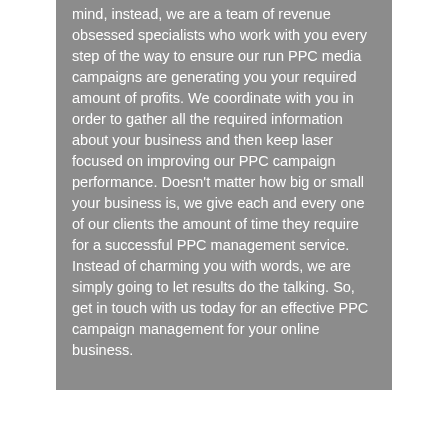mind, instead, we are a team of revenue obsessed specialists who work with you every step of the way to ensure our run PPC media campaigns are generating you your required amount of profits. We coordinate with you in order to gather all the required information about your business and then keep laser focused on improving our PPC campaign performance. Doesn't matter how big or small your business is, we give each and every one of our clients the amount of time they require for a successful PPC management service. Instead of charming you with words, we are simply going to let results do the talking. So, get in touch with us today for an effective PPC campaign management for your online business.